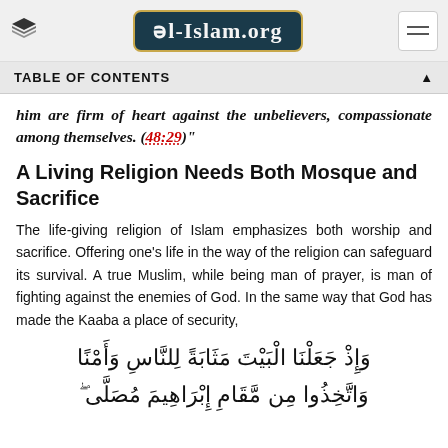Al-Islam.org
TABLE OF CONTENTS
him are firm of heart against the unbelievers, compassionate among themselves. (48:29)"
A Living Religion Needs Both Mosque and Sacrifice
The life-giving religion of Islam emphasizes both worship and sacrifice. Offering one’s life in the way of the religion can safeguard its survival. A true Muslim, while being man of prayer, is man of fighting against the enemies of God. In the same way that God has made the Kaaba a place of security,
وَإِذْ جَعَلْنَا الْبَيْتَ مَثَابَةً لِلنَّاسِ وَأمْنًا